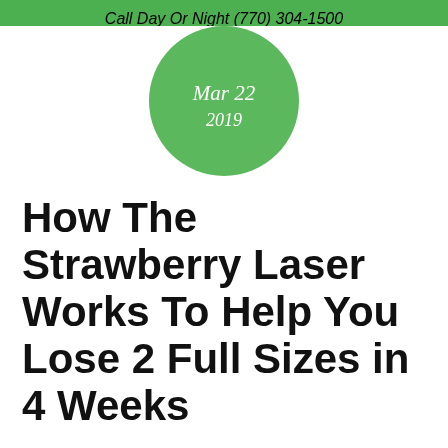Call Day Or Night (770) 304-1500
[Figure (other): Green circle date badge showing Mar 22 / 2019]
How The Strawberry Laser Works To Help You Lose 2 Full Sizes in 4 Weeks
Category: Videos